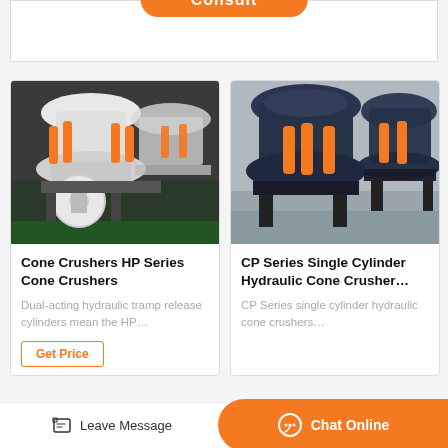[Figure (other): Orange rounded 'Consult' button at top of page]
[Figure (photo): White and orange Cone Crushers HP Series machines in factory setting]
Cone Crushers HP Series Cone Crushers
Dual-acting hydraulic tramp release cylinders mean the HP…
[Figure (photo): Dark blue CP Series Single Cylinder Hydraulic Cone Crushers in factory setting]
CP Series Single Cylinder Hydraulic Cone Crusher…
CP Series single cylinder hydraulic cone crushers…
Get Price
Leave Message
Chat Online